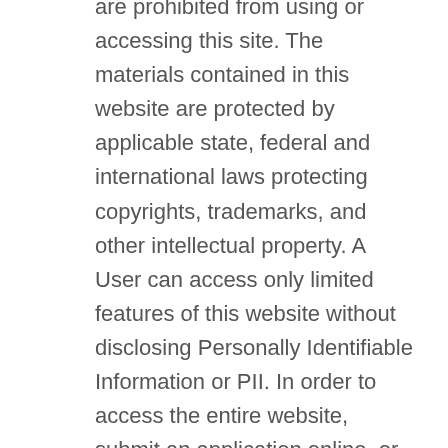are prohibited from using or accessing this site. The materials contained in this website are protected by applicable state, federal and international laws protecting copyrights, trademarks, and other intellectual property. A User can access only limited features of this website without disclosing Personally Identifiable Information or PII. In order to access the entire website, submit an application online, or use our employee portal, a User must register for an account, which will provide the registrant with full access to these services and requires the User to provide certain